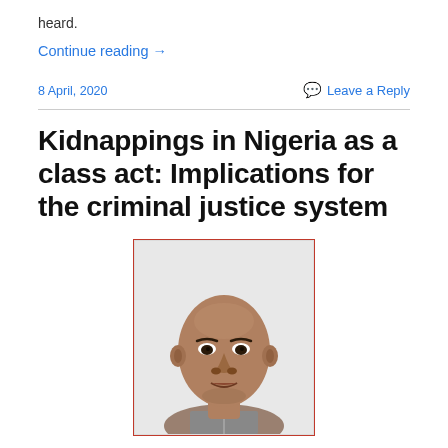heard.
Continue reading →
8 April, 2020
Leave a Reply
Kidnappings in Nigeria as a class act: Implications for the criminal justice system
[Figure (photo): Black and white headshot photo of a man, shown from shoulders up, facing forward, inside a red-bordered rectangle]
Author: Dr Akinola Akintayo